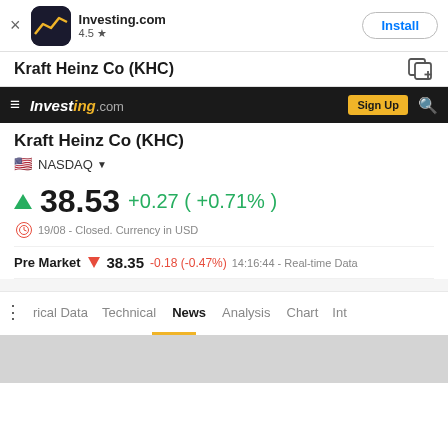Investing.com 4.5 ★ Install
Kraft Heinz Co (KHC)
investing.com Sign Up
Kraft Heinz Co (KHC)
🇺🇸 NASDAQ ▼
▲ 38.53 +0.27 ( +0.71% )
🕐 19/08 - Closed. Currency in USD
Pre Market ▼ 38.35 -0.18 (-0.47%) 14:16:44 - Real-time Data
⋮ Historical Data Technical News Analysis Chart Int